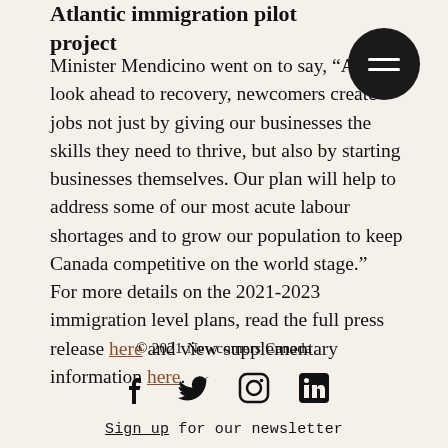Atlantic immigration pilot project
Minister Mendicino went on to say, “As we look ahead to recovery, newcomers create jobs not just by giving our businesses the skills they need to thrive, but also by starting businesses themselves. Our plan will help to address some of our most acute labour shortages and to grow our population to keep Canada competitive on the world stage.”
For more details on the 2021-2023 immigration level plans, read the full press release here and view supplementary information here.
© 2021 Newcomers Canada
Sign up for our newsletter